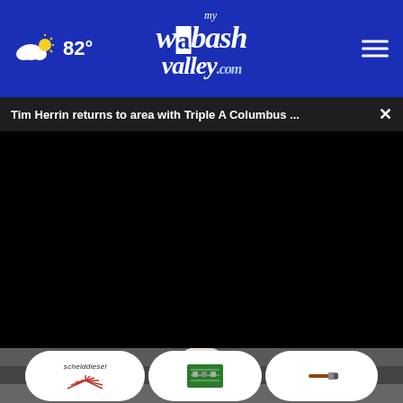myWabashValley.com — 82° weather header with navigation
Tim Herrin returns to area with Triple A Columbus ...
[Figure (screenshot): Black video player area]
[Figure (photo): Bottom portion showing outdoor scene with ad strip overlay containing scheiddiesel logo and two product images]